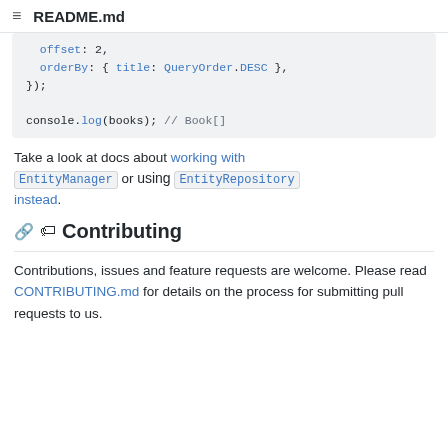README.md
offset: 2,
  orderBy: { title: QueryOrder.DESC },
});

console.log(books); // Book[]
Take a look at docs about working with EntityManager or using EntityRepository instead.
🔗 🏷 Contributing
Contributions, issues and feature requests are welcome. Please read CONTRIBUTING.md for details on the process for submitting pull requests to us.